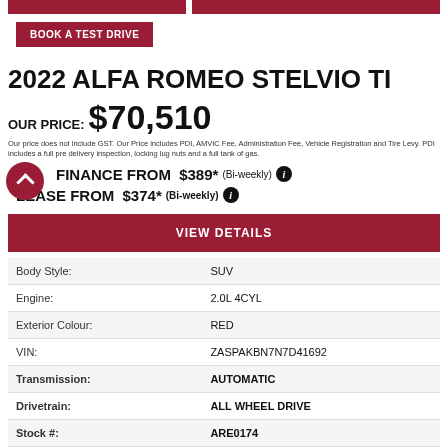2022 ALFA ROMEO STELVIO TI
OUR PRICE: $70,510
Our price does not include GST. Our Price includes PDI, AMVIC Fee, Administration Fee, Vehicle Registration and Tire Levy. PDI includes a full pre delivery inspection, locking lug nuts and a full tank of gas.
FINANCE FROM $389* (Bi-weekly)
LEASE FROM $374* (Bi-weekly)
|  |  |
| --- | --- |
| Body Style: | SUV |
| Engine: | 2.0L 4CYL |
| Exterior Colour: | RED |
| VIN: | ZASPAKBN7N7D41692 |
| Transmission: | AUTOMATIC |
| Drivetrain: | ALL WHEEL DRIVE |
| Stock #: | ARE0174 |